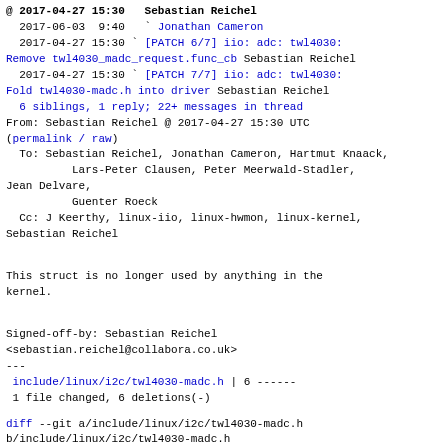@ 2017-04-27 15:30   Sebastian Reichel
  2017-06-03  9:40   ` Jonathan Cameron
  2017-04-27 15:30 ` [PATCH 6/7] iio: adc: twl4030: Remove twl4030_madc_request.func_cb Sebastian Reichel
  2017-04-27 15:30 ` [PATCH 7/7] iio: adc: twl4030: Fold twl4030-madc.h into driver Sebastian Reichel
  6 siblings, 1 reply; 22+ messages in thread
From: Sebastian Reichel @ 2017-04-27 15:30 UTC
(permalink / raw)
  To: Sebastian Reichel, Jonathan Cameron, Hartmut Knaack,
          Lars-Peter Clausen, Peter Meerwald-Stadler, Jean Delvare,
          Guenter Roeck
  Cc: J Keerthy, linux-iio, linux-hwmon, linux-kernel,
Sebastian Reichel
This struct is no longer used by anything in the kernel.
Signed-off-by: Sebastian Reichel
<sebastian.reichel@collabora.co.uk>
---
 include/linux/i2c/twl4030-madc.h | 6 ------
 1 file changed, 6 deletions(-)
diff --git a/include/linux/i2c/twl4030-madc.h b/include/linux/i2c/twl4030-madc.h
index be9260e261ac..f395700fb933 100644
--- a/include/linux/i2c/twl4030-madc.h
+++ b/include/linux/i2c/twl4030-madc.h